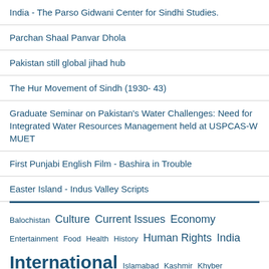India - The Parso Gidwani Center for Sindhi Studies.
Parchan Shaal Panvar Dhola
Pakistan still global jihad hub
The Hur Movement of Sindh (1930- 43)
Graduate Seminar on Pakistan's Water Challenges: Need for Integrated Water Resources Management held at USPCAS-W MUET
First Punjabi English Film - Bashira in Trouble
Easter Island - Indus Valley Scripts
Balochistan Culture Current Issues Economy Entertainment Food Health History Human Rights India International Islamabad Kashmir Khyber Pakhtunkhwa Life Media Music News Pakistan Personalities